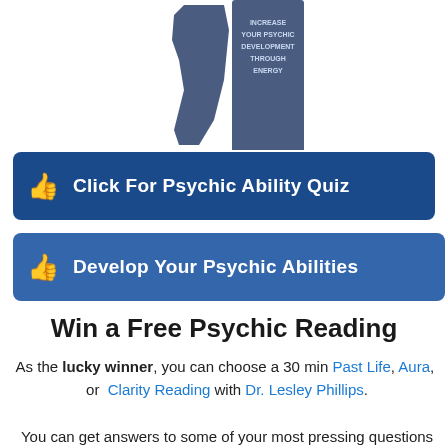[Figure (illustration): Two dark blue silhouette book/head shapes against white background, with text 'INCREASE YOUR PSYCHIC DEVELOPMENT THROUGH ENERGY' on right shape]
[Figure (other): Dark blue button with thumbs-up icon and text 'Click For Psychic Ability Quiz']
[Figure (other): Medium blue button with thumbs-up icon and text 'Develop Your Psychic Abilities']
Win a Free Psychic Reading
As the lucky winner, you can choose a 30 min Past Life, Aura, or Clarity Reading with Dr. Lesley Phillips.
You can get answers to some of your most pressing questions about Love, finance, life purpose, career,